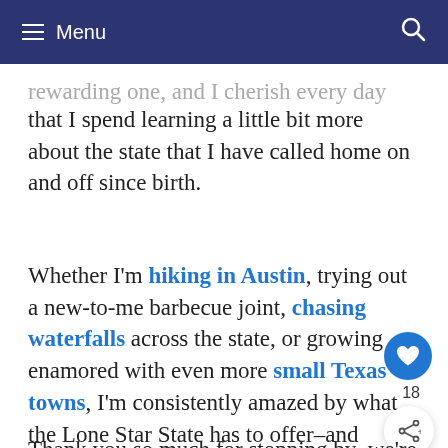≡ Menu
rewarding one, and I cherish every day that I spend learning a little bit more about the state that I have called home on and off since birth.
Whether I'm hiking in Austin, trying out a new-to-me barbecue joint, chasing waterfalls across the state, or growing enamored with even more small Texas towns, I'm consistently amazed by what the Lone Star State has to offer–and excited to share it with you!
Thank you so much for stopping by–we're